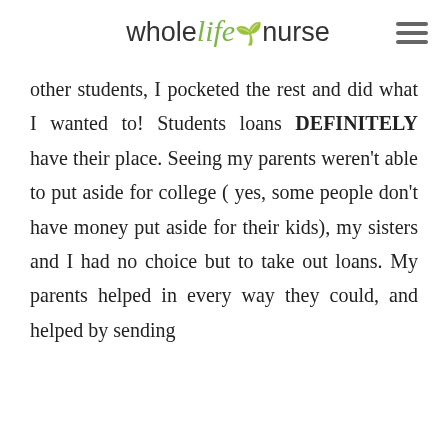whole life nurse
other students, I pocketed the rest and did what I wanted to! Students loans DEFINITELY have their place. Seeing my parents weren't able to put aside for college ( yes, some people don't have money put aside for their kids), my sisters and I had no choice but to take out loans. My parents helped in every way they could, and helped by sending